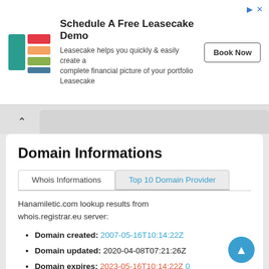[Figure (logo): Leasecake logo: teal/red/orange/green layered rectangles]
Schedule A Free Leasecake Demo
Leasecake helps you quickly & easily create a complete financial picture of your portfolio Leasecake
Book Now
Domain Informations
Whois Informations
Top 10 Domain Provider
Hanamiletic.com lookup results from whois.registrar.eu server:
Domain created: 2007-05-16T10:14:22Z
Domain updated: 2020-04-08T07:21:26Z
Domain expires: 2023-05-16T10:14:22Z 0 Years, 270 Days left
Website age: 15 Years, 94 Days
Registrar Domain ID: